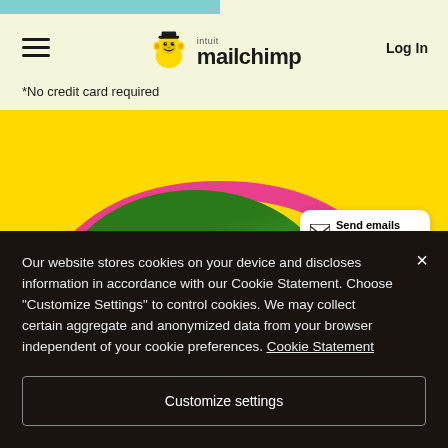[Figure (screenshot): Mailchimp website navigation bar with hamburger menu, Intuit Mailchimp logo, and Log In button on light yellow background]
*No credit card required
[Figure (photo): Yellow hero background with pink arch, person with sunglasses in green water, UI callout cards showing 'Send emails to shoppers' and 'Creative Assistant']
Our website stores cookies on your device and discloses information in accordance with our Cookie Statement. Choose "Customize Settings" to control cookies. We may collect certain aggregate and anonymized data from your browser independent of your cookie preferences. Cookie Statement
Customize settings